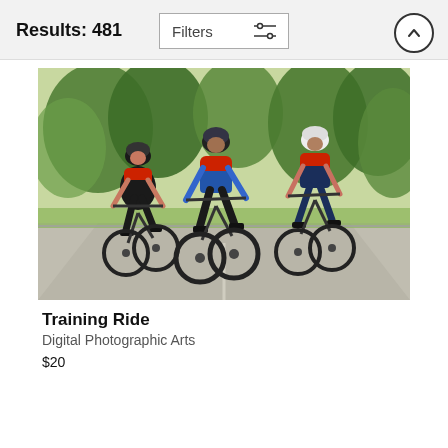Results: 481
[Figure (photo): Three cyclists riding road bikes down a street, wearing helmets and cycling jerseys (red, black, and blue), with green trees in the background. The image has a digital painterly/photographic art style.]
Training Ride
Digital Photographic Arts
$20